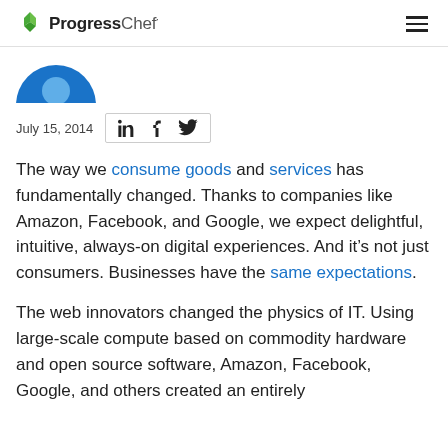Progress Chef
[Figure (logo): Partial circular blue logo/avatar at top left below header]
July 15, 2014
The way we consume goods and services has fundamentally changed. Thanks to companies like Amazon, Facebook, and Google, we expect delightful, intuitive, always-on digital experiences. And it’s not just consumers. Businesses have the same expectations.
The web innovators changed the physics of IT. Using large-scale compute based on commodity hardware and open source software, Amazon, Facebook, Google, and others created an entirely